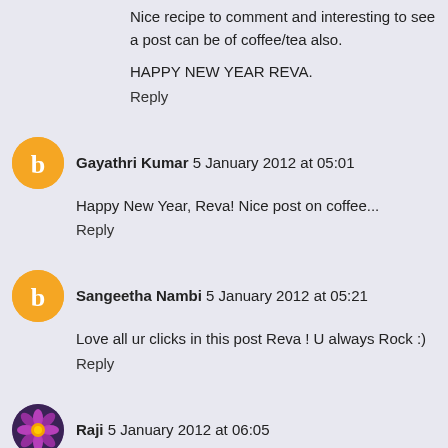Nice recipe to comment and interesting to see a post can be of coffee/tea also.
HAPPY NEW YEAR REVA.
Reply
Gayathri Kumar 5 January 2012 at 05:01
Happy New Year, Reva! Nice post on coffee...
Reply
Sangeetha Nambi 5 January 2012 at 05:21
Love all ur clicks in this post Reva ! U always Rock :)
Reply
Raji 5 January 2012 at 06:05
My kiddo and DH listen to kolaveri almost daily as a sacred ritual on youtube..I get really irritated..but in spite of stupid